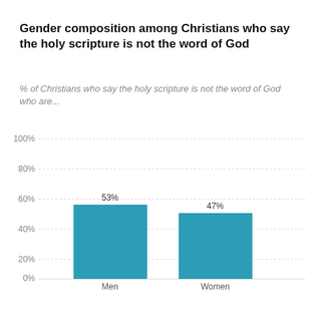Gender composition among Christians who say the holy scripture is not the word of God
% of Christians who say the holy scripture is not the word of God who are...
[Figure (bar-chart): Gender composition among Christians who say the holy scripture is not the word of God]